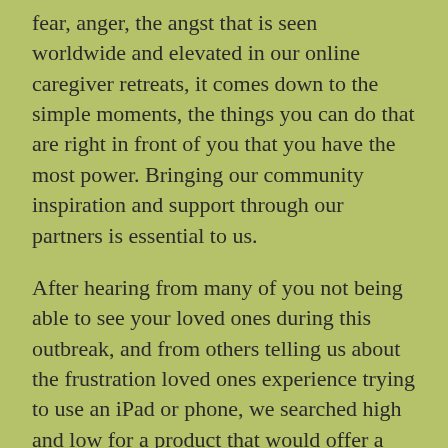fear, anger, the angst that is seen worldwide and elevated in our online caregiver retreats, it comes down to the simple moments, the things you can do that are right in front of you that you have the most power. Bringing our community inspiration and support through our partners is essential to us.
After hearing from many of you not being able to see your loved ones during this outbreak, and from others telling us about the frustration loved ones experience trying to use an iPad or phone, we searched high and low for a product that would offer a resolution. We are delighted to have found the Claris Companion tablet and thrilled that they are joining us for a FREE demonstration of their tablet this week.
The tablet is a versatile, customizable answer to a lot of stress, frustration, and sadness. I wish I had this when